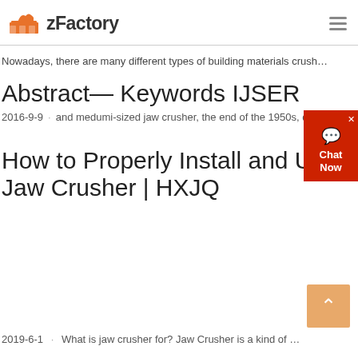zFactory
Nowadays, there are many different types of building materials crusher...
Abstract— Keywords IJSER
2016-9-9 · and medumi-sized jaw crusher, the end of the 1950s, due to t...
How to Properly Install and Use Jaw Crusher | HXJQ
2019-6-1 · What is jaw crusher for? Jaw Crusher is a kind of mining equi...